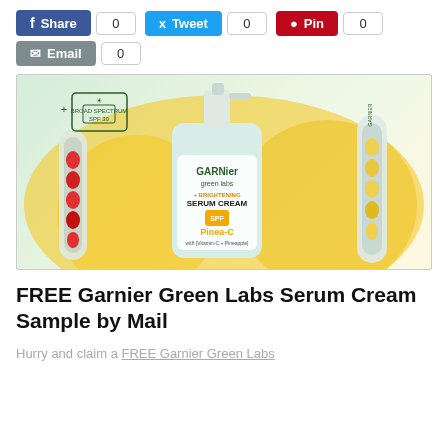[Figure (screenshot): Social sharing buttons: Facebook Share (0), Twitter Tweet (0), Pinterest Pin (0), Email (0)]
[Figure (photo): Garnier Green Labs Brightening Serum Cream Pinea-C product image with pineapple background, broad spectrum SPF 30 icon, and serum tubes]
FREE Garnier Green Labs Serum Cream Sample by Mail
Hurry and claim a FREE Garnier Green Labs